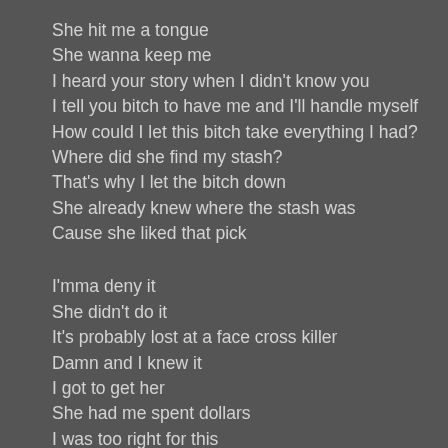She hit me a tongue
She wanna keep me
I heard your story when I didn't know you
I tell you bitch to have me and I'll handle myself
How could I let this bitch take everything I had?
Where did she find my stash?
That's why I let the bitch down
She already knew where the stash was
Cause she liked that pick
I'mma deny it
She didn't do it
It's probably lost at a face cross killer
Damn and I knew it
I got to get her
She had me spent dollars
I was too right for this
Respect her
And then I'm like